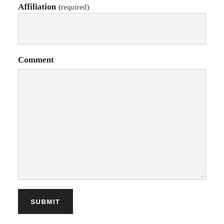Affiliation (required)
[Figure (other): Empty text input field for Affiliation]
Comment
[Figure (other): Empty textarea for Comment with resize handle]
SUBMIT